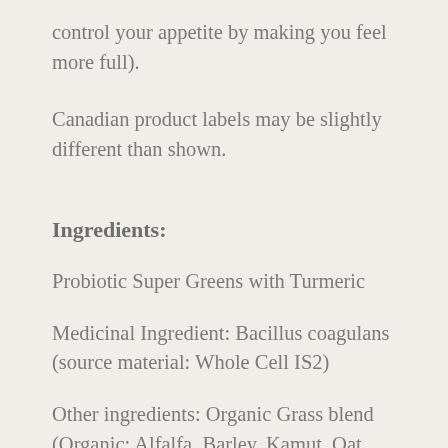control your appetite by making you feel more full).
Canadian product labels may be slightly different than shown.
Ingredients:
Probiotic Super Greens with Turmeric
Medicinal Ingredient: Bacillus coagulans (source material: Whole Cell IS2)
Other ingredients: Organic Grass blend (Organic: Alfalfa, Barley, Kamut, Oat and Wheat Grass Juice powder), Organic Spirulina, Organic Chlorella, Organic Aloe Vera of Panela, Organic Matcha